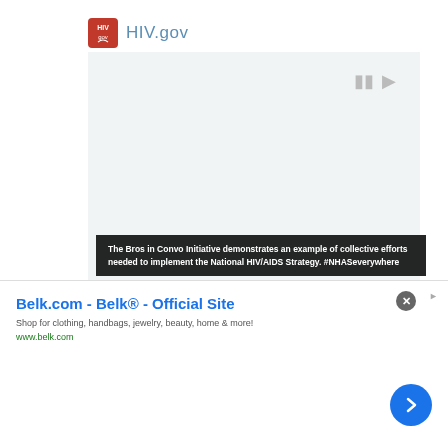HIV.gov
[Figure (screenshot): HIV.gov website video player area — large light-gray video embed region with media controls (pause and mute icons) visible in upper right of video area.]
The Bros in Convo Initiative demonstrates an example of collective efforts needed to implement the National HIV/AIDS Strategy. #NHASeverywhere
Belk.com - Belk® - Official Site
Shop for clothing, handbags, jewelry, beauty, home & more!
www.belk.com